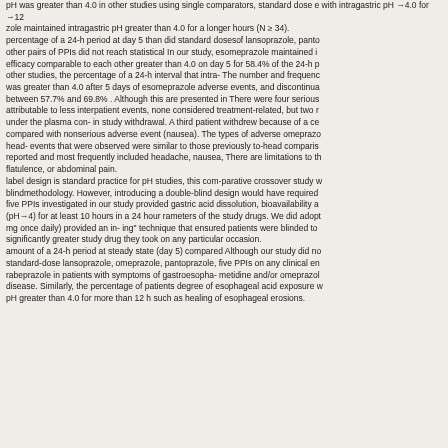pH was greater than 4.0 in other studies using single comparators, standard dose esomeprazole maintained intragastric pH with intragastric pH →4.0 for →12 zole maintained intragastric pH greater than 4.0 for a longer hours (N ≥ 34). percentage of a 24-h period at day 5 than did standard doses of lansoprazole, panto other pairs of PPIs did not reach statistical In our study, esomeprazole maintained in efficacy comparable to each other greater than 4.0 on day 5 for 58.4% of the 24-h p other studies, the percentage of a 24-h interval that intra- The number and frequency was greater than 4.0 after 5 days of esomeprazole adverse events, and discontinua between 57.7% and 69.8% . Although this are presented in There were four serious attributable to less interpatient events, none considered treatment-related, but two r under the plasma con- in study withdrawal. A third patient withdrew because of a ce compared with nonserious adverse event (nausea). The types of adverse omeprazo head- events that were observed were similar to those previously to-head comparis reported and most frequently included headache, nausea, There are limitations to th flatulence, or abdominal pain. label design is standard practice for pH studies, this com-parative crossover study w blindmethodology. However, introducing a double-blind design would have required five PPIs investigated in our study provided gastric acid dissolution, bioavailability a (pH→4) for at least 10 hours in a 24 hour rameters of the study drugs. We did adopt mg once daily) provided an in- ing" technique that ensured patients were blinded to significantly greater study drug they took on any particular occasion. amount of a 24-h period at steady state (day 5) compared Although our study did no standard-dose lansoprazole, omeprazole, pantoprazole, five PPIs on any clinical en rabeprazole in patients with symptoms of gastroesopha- metidine and/or omeprazol disease. Similarly, the percentage of patients degree of esophageal acid exposure w pH greater than 4.0 for more than 12 h such as healing of esophageal erosions.